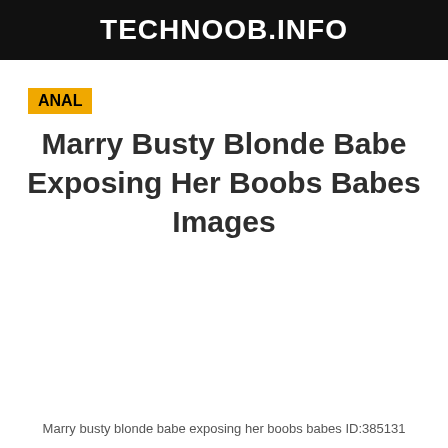TECHNOOB.INFO
ANAL
Marry Busty Blonde Babe Exposing Her Boobs Babes Images
Marry busty blonde babe exposing her boobs babes ID:385131